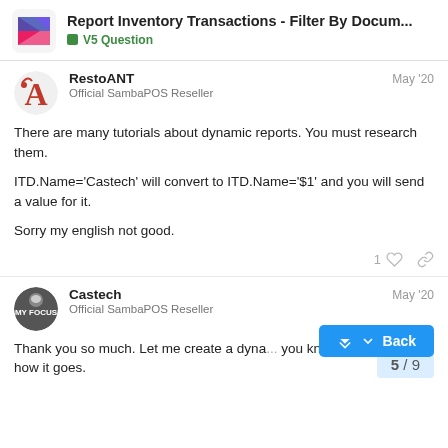Report Inventory Transactions - Filter By Docum... | V5 Question
RestoANT
Official SambaPOS Reseller
May '20
There are many tutorials about dynamic reports. You must research them.

ITD.Name='Castech' will convert to ITD.Name='$1' and you will send a value for it.

Sorry my english not good.
Castech
Official SambaPOS Reseller
May '20
Thank you so much. Let me create a dyna... you know how it goes.